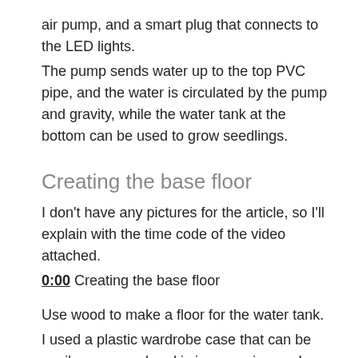air pump, and a smart plug that connects to the LED lights.
The pump sends water up to the top PVC pipe, and the water is circulated by the pump and gravity, while the water tank at the bottom can be used to grow seedlings.
Creating the base floor
I don't have any pictures for the article, so I'll explain with the time code of the video attached.
0:00 Creating the base floor
Use wood to make a floor for the water tank.
I used a plastic wardrobe case that can be easily processed and is inexpensive, so I asked the home center to cut it so that it would be the width of the wardrobe case plus about 20 cm.